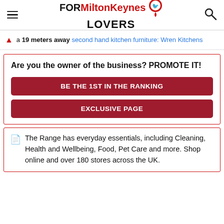FORMiltonKeynes LOVERS
a 19 meters away second hand kitchen furniture: Wren Kitchens
Are you the owner of the business? PROMOTE IT!
BE THE 1ST IN THE RANKING
EXCLUSIVE PAGE
The Range has everyday essentials, including Cleaning, Health and Wellbeing, Food, Pet Care and more. Shop online and over 180 stores across the UK.